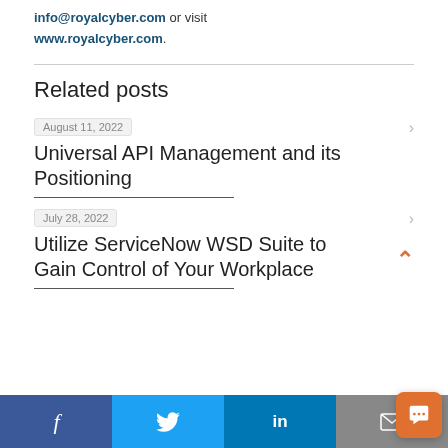info@royalcyber.com or visit www.royalcyber.com.
Related posts
August 11, 2022
Universal API Management and its Positioning
July 28, 2022
Utilize ServiceNow WSD Suite to Gain Control of Your Workplace
Social share bar: Facebook, Twitter, LinkedIn, Email